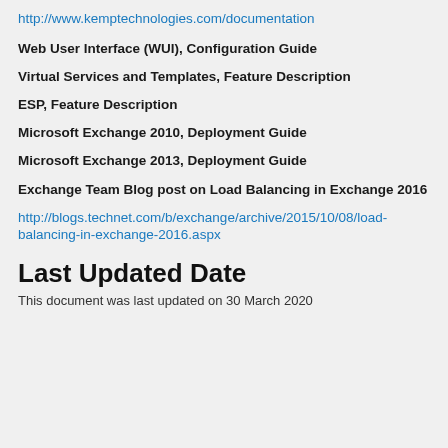http://www.kemptechnologies.com/documentation
Web User Interface (WUI), Configuration Guide
Virtual Services and Templates, Feature Description
ESP, Feature Description
Microsoft Exchange 2010, Deployment Guide
Microsoft Exchange 2013, Deployment Guide
Exchange Team Blog post on Load Balancing in Exchange 2016
http://blogs.technet.com/b/exchange/archive/2015/10/08/load-balancing-in-exchange-2016.aspx
Last Updated Date
This document was last updated on 30 March 2020